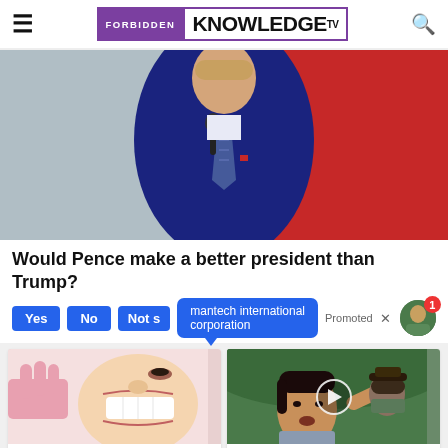FORBIDDEN KNOWLEDGE TV
[Figure (photo): Man in dark suit at microphone, red background]
Would Pence make a better president than Trump?
Yes  No  Not s... (poll buttons) | mantech international corporation | Promoted X
[Figure (photo): Close-up of dental procedure on smiling woman]
Apply For Government Dental Implant Grants
Search Now
[Figure (photo): Kamala Harris pointing, with play button overlay]
Everyone Who Believes In God Should Watch This
Watch The Video